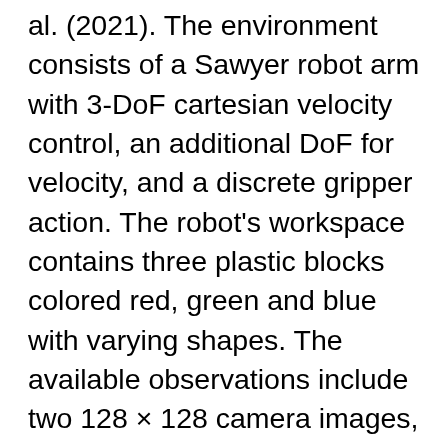al. (2021). The environment consists of a Sawyer robot arm with 3-DoF cartesian velocity control, an additional DoF for velocity, and a discrete gripper action. The robot's workspace contains three plastic blocks colored red, green and blue with varying shapes. The available observations include two 128 × 128 camera images, robot arm and gripper joint angles as well as the robot's end-effector pose. Notably, ground truth state information for the three objects in the basket is not observed by the agent. Episodes have a fixed length of 400 timesteps at 20 Hz for a total of 20 seconds, and at the end of an episode block positions are randomly re-positioned within the workspace. The robot in action is shown in Figure 4. There are two challenges in this